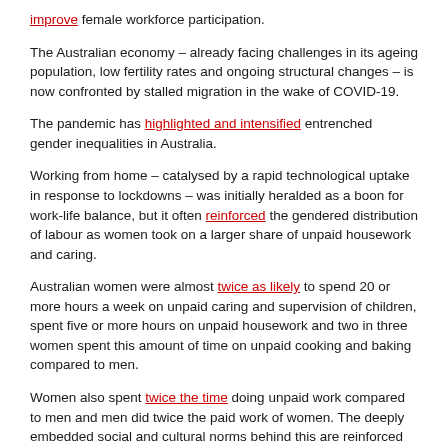improve female workforce participation.
The Australian economy – already facing challenges in its ageing population, low fertility rates and ongoing structural changes – is now confronted by stalled migration in the wake of COVID-19.
The pandemic has highlighted and intensified entrenched gender inequalities in Australia.
Working from home – catalysed by a rapid technological uptake in response to lockdowns – was initially heralded as a boon for work-life balance, but it often reinforced the gendered distribution of labour as women took on a larger share of unpaid housework and caring.
Australian women were almost twice as likely to spend 20 or more hours a week on unpaid caring and supervision of children, spent five or more hours on unpaid housework and two in three women spent this amount of time on unpaid cooking and baking compared to men.
Women also spent twice the time doing unpaid work compared to men and men did twice the paid work of women. The deeply embedded social and cultural norms behind this are reinforced by parental leave and childcare policies.